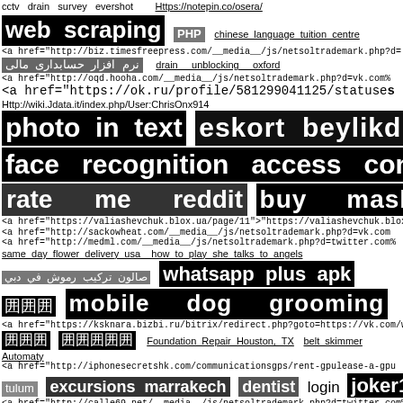cctv drain survey evershot   Https://notepin.co/osera/
web scraping  PHP  chinese language tuition centre
<a href="http://biz.timesfreepress.com/__media__/js/netsoltrademark.php?d=
نرم افزار حسابداری مالی   drain unblocking oxford
<a href="http://oqd.hooha.com/__media__/js/netsoltrademark.php?d=vk.com%
<a href="https://ok.ru/profile/581299041125/statuses
Http://wiki.Jdata.it/index.php/User:ChrisOnx914
photo in text  eskort beylikdüzü
face recognition access control
rate me reddit   buy mask
<a href="https://valiashevchuk.blox.ua/page/11">"https://valiashevchuk.blox.u
<a href="http://sackowheat.com/__media__/js/netsoltrademark.php?d=vk.com
<a href="http://medml.com/__media__/js/netsoltrademark.php?d=twitter.com%
same day flower delivery usa  how to play she talks to angels
صالون تركيب رموش في دبي  whatsapp plus apk
囲囲囲  mobile dog grooming
<a href="https://ksknara.bizbi.ru/bitrix/redirect.php?goto=https://vk.com/wall-2
囲囲囲 囲囲囲囲囲  Foundation Repair Houston, TX  belt skimmer
Automaty
<a href="http://iphonesecretshk.com/communicationsgps/rent-gpulease-a-gpu
tulum  excursions marrakech  dentist  login joker123
<a href="http://calle69.net/__media__/js/netsoltrademark.php?d=twitter.com%
<a href="http://figarohair.ru/bitrix/rk.php?goto=https://vk.com/wall-214218228